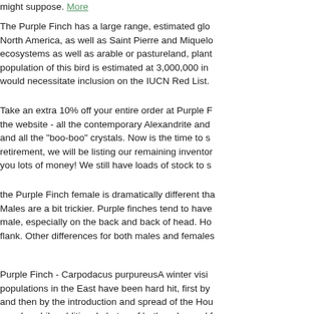might suppose. More
The Purple Finch has a large range, estimated glo... North America, as well as Saint Pierre and Miquelo... ecosystems as well as arable or pastureland, plant... population of this bird is estimated at 3,000,000 in... would necessitate inclusion on the IUCN Red List.
Take an extra 10% off your entire order at Purple F... the website - all the contemporary Alexandrite and... and all the "boo-boo" crystals. Now is the time to s... retirement, we will be listing our remaining inventor... you lots of money! We still have loads of stock to s...
the Purple Finch female is dramatically different tha... Males are a bit trickier. Purple finches tend to have... male, especially on the back and back of head. Ho... flank. Other differences for both males and females...
Purple Finch - Carpodacus purpureusA winter visit... populations in the East have been hard hit, first by... and then by the introduction and spread of the Hou... a male, while additional photos of both males and f... More
The song of the Purple Finch is sweet and continu... and summer months, in the mountainous parts of P... particularly about the Great Pine Forest, where, alt... birds flying about and feeding their young, which c...